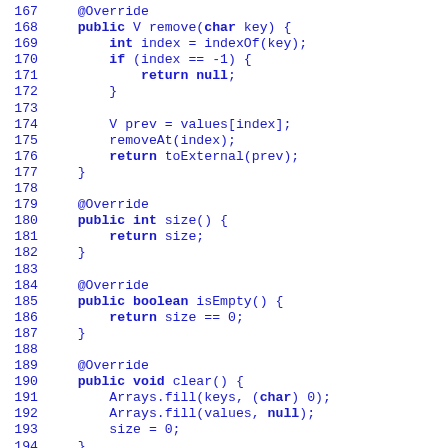Code listing lines 167-194 showing Java methods: remove(char key), size(), isEmpty(), clear()